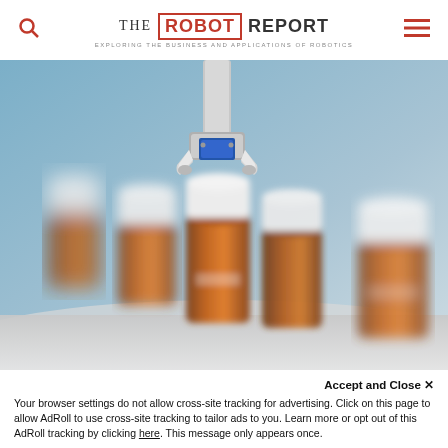THE ROBOT REPORT — EXPLORING THE BUSINESS AND APPLICATIONS OF ROBOTICS
[Figure (photo): Robotic gripper/end-effector holding or positioned above amber pharmaceutical vials with white caps on a laboratory surface, blurred background with blue haze]
Accept and Close ✕
Your browser settings do not allow cross-site tracking for advertising. Click on this page to allow AdRoll to use cross-site tracking to tailor ads to you. Learn more or opt out of this AdRoll tracking by clicking here. This message only appears once.